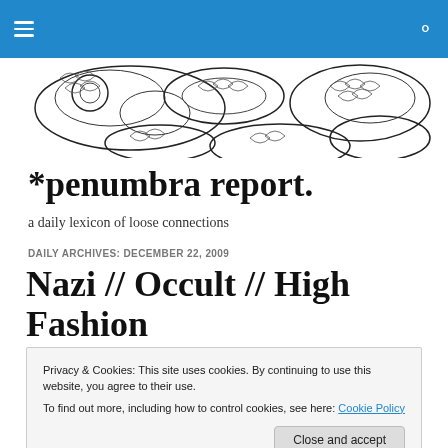[Figure (illustration): Decorative black-and-white illustration showing snake/reptile and textured organic forms]
*penumbra report.
a daily lexicon of loose connections
DAILY ARCHIVES: DECEMBER 22, 2009
Nazi // Occult // High Fashion
Privacy & Cookies: This site uses cookies. By continuing to use this website, you agree to their use.
To find out more, including how to control cookies, see here: Cookie Policy
Close and accept